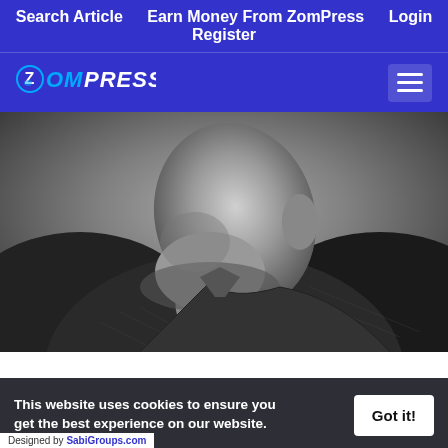Search Article  Earn Money From ZomPress  Login  Register
[Figure (logo): ZomPress logo with stylized Z in circle and italic text]
[Figure (photo): Black and white close-up photo of an elderly man's face tilted upward, wearing a herringbone coat]
This website uses cookies to ensure you get the best experience on our website.
Designed by SabiGroups.com